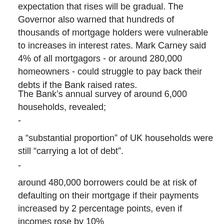expectation that rises will be gradual. The Governor also warned that hundreds of thousands of mortgage holders were vulnerable to increases in interest rates. Mark Carney said 4% of all mortgagors - or around 280,000 homeowners - could struggle to pay back their debts if the Bank raised rates.
The Bank's annual survey of around 6,000 households, revealed;
-
a "substantial proportion" of UK households were still "carrying a lot of debt".
-
around 480,000 borrowers could be at risk of defaulting on their mortgage if their payments increased by 2 percentage points, even if incomes rose by 10%